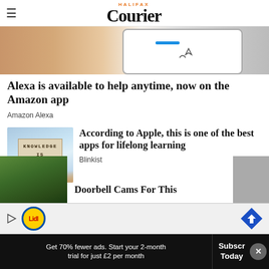Halifax Courier
[Figure (photo): Close-up of a hand holding a smartphone showing the Amazon app interface with home icon visible]
Alexa is available to help anytime, now on the Amazon app
Amazon Alexa
[Figure (photo): A hand holding a wooden block or sign that reads KNOWLEDGE IS POWER against a blue sky]
According to Apple, this is one of the best apps for lifelong learning
Blinkist
[Figure (photo): Partially visible third article image showing green foliage]
Doorbell Cams For This
[Figure (screenshot): Lidl advertisement banner with play button and navigation icon]
Get 70% fewer ads. Start your 2-month trial for just £2 per month
Subscribe Today